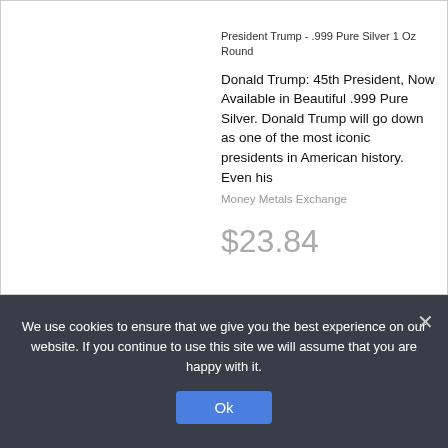President Trump - .999 Pure Silver 1 Oz Round
Donald Trump: 45th President, Now Available in Beautiful .999 Pure Silver. Donald Trump will go down as one of the most iconic presidents in American history. Even his
Money Metals Exchange
$23.84
We use cookies to ensure that we give you the best experience on our website. If you continue to use this site we will assume that you are happy with it.